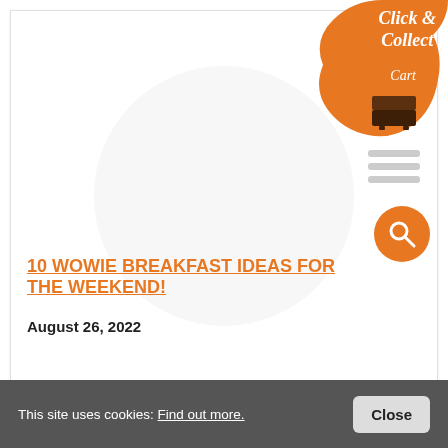[Figure (logo): Orange paint splash blob with 'Click & Collect' text and cart icon in top right corner]
[Figure (illustration): Hamburger/menu icon with three horizontal lines]
[Figure (illustration): Orange circular search button with magnifying glass icon]
10 WOWIE BREAKFAST IDEAS FOR THE WEEKEND!
August 26, 2022
This site uses cookies: Find out more.